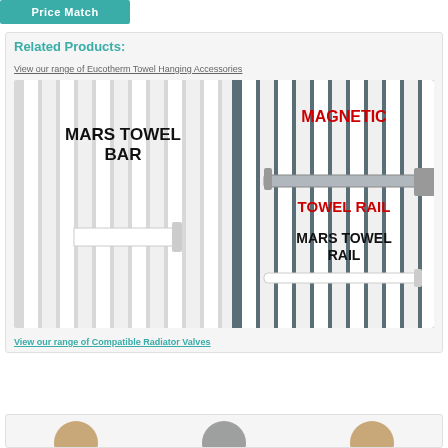[Figure (other): Price Match button - teal/green rounded button with white bold text 'Price Match']
Related Products:
View our range of Eucotherm Towel Hanging Accessories
[Figure (illustration): Product image showing Mars Towel Bar (white bar on white vertical radiator), Magnetic Towel Rail (silver bar on dark grey radiator), and Mars Towel Rail (white rail on white radiator), with text labels for each product]
View our range of Compatible Radiator Valves
[Figure (photo): Partial view of radiator valve product images at bottom of page]